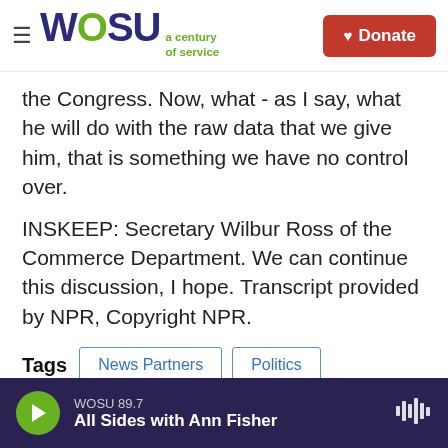WOSU a century of service | Donate
the Congress. Now, what - as I say, what he will do with the raw data that we give him, that is something we have no control over.
INSKEEP: Secretary Wilbur Ross of the Commerce Department. We can continue this discussion, I hope. Transcript provided by NPR, Copyright NPR.
Tags   News Partners   Politics
[Figure (other): Social sharing icons: Facebook, Twitter, LinkedIn, Email]
WOSU 89.7 | All Sides with Ann Fisher